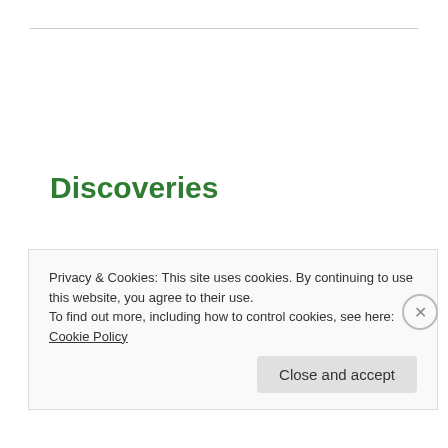Discoveries
Zen Habits is one of my favourite blogs as it incorporates mindfulness and simplicity. While Leo Babauta doesn't set out “How to…” guides, his reflections and personal action plan in his most recent
Privacy & Cookies: This site uses cookies. By continuing to use this website, you agree to their use.
To find out more, including how to control cookies, see here: Cookie Policy
Close and accept